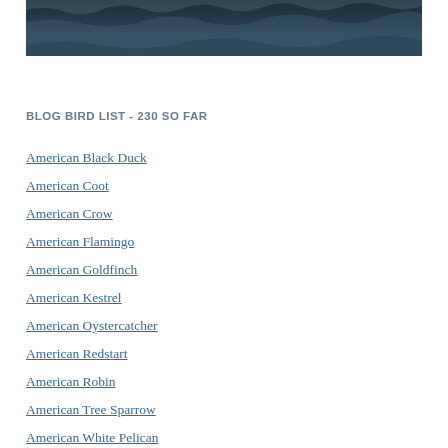[Figure (photo): Aerial or close-up photo of ocean waves or rough water surface with dark blue-grey tones]
BLOG BIRD LIST - 230 SO FAR
American Black Duck
American Coot
American Crow
American Flamingo
American Goldfinch
American Kestrel
American Oystercatcher
American Redstart
American Robin
American Tree Sparrow
American White Pelican
Anhinga
Bald Eagle